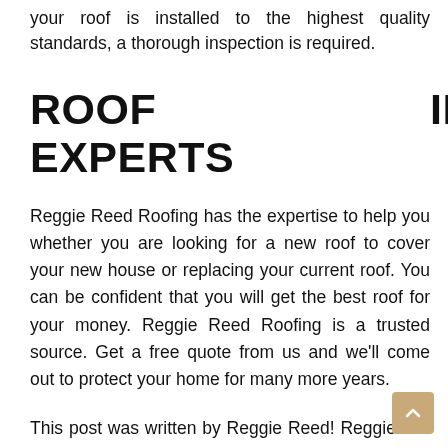your roof is installed to the highest quality standards, a thorough inspection is required.
ROOF INSTALLATION EXPERTS
Reggie Reed Roofing has the expertise to help you whether you are looking for a new roof to cover your new house or replacing your current roof. You can be confident that you will get the best roof for your money. Reggie Reed Roofing is a trusted source. Get a free quote from us and we'll come out to protect your home for many more years.
This post was written by Reggie Reed! Reggie is a state-certified roofing contractor and co-owner of Reggie